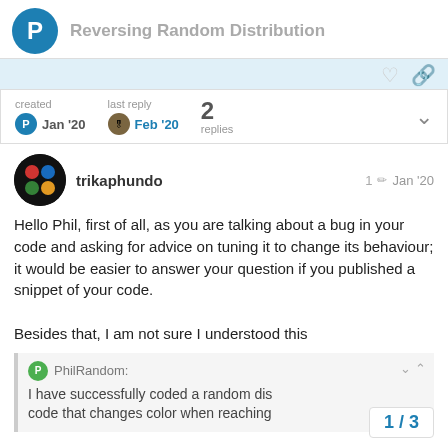Reversing Random Distribution
created Jan '20  last reply Feb '20  2 replies
trikaphundo 1 Jan '20
Hello Phil, first of all, as you are talking about a bug in your code and asking for advice on tuning it to change its behaviour; it would be easier to answer your question if you published a snippet of your code.

Besides that, I am not sure I understood this
PhilRandom:
I have successfully coded a random dis
code that changes color when reaching